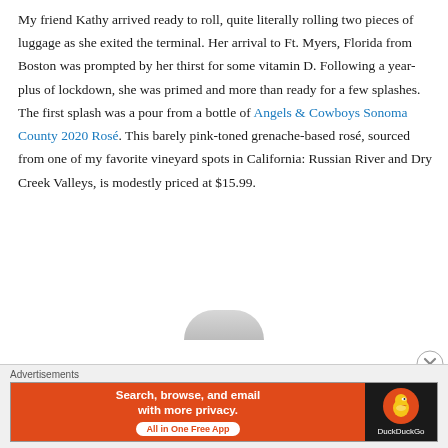My friend Kathy arrived ready to roll, quite literally rolling two pieces of luggage as she exited the terminal. Her arrival to Ft. Myers, Florida from Boston was prompted by her thirst for some vitamin D. Following a year-plus of lockdown, she was primed and more than ready for a few splashes. The first splash was a pour from a bottle of Angels & Cowboys Sonoma County 2020 Rosé. This barely pink-toned grenache-based rosé, sourced from one of my favorite vineyard spots in California: Russian River and Dry Creek Valleys, is modestly priced at $15.99.
[Figure (photo): Partial view of a wine bottle bottom, partially visible at the bottom of the content area]
Advertisements
[Figure (screenshot): DuckDuckGo advertisement banner: orange background with text 'Search, browse, and email with more privacy. All in One Free App' and DuckDuckGo logo on dark background on the right]